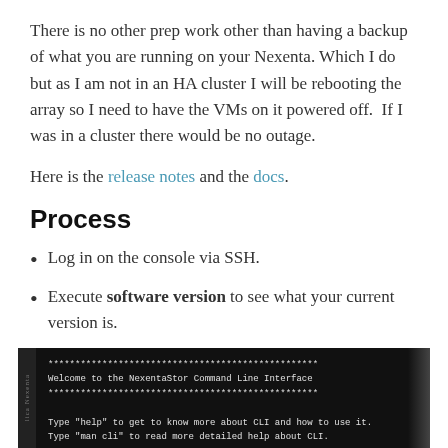There is no other prep work other than having a backup of what you are running on your Nexenta. Which I do but as I am not in an HA cluster I will be rebooting the array so I need to have the VMs on it powered off.  If I was in a cluster there would be no outage.
Here is the release notes and the docs.
Process
Log in on the console via SSH.
Execute software version to see what your current version is.
[Figure (screenshot): Terminal screenshot showing NexentaStor Command Line Interface welcome message with asterisk borders and help instructions.]